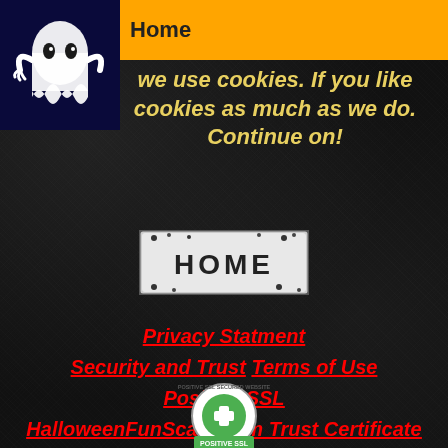[Figure (illustration): Ghost illustration on dark blue background, Halloween themed]
Home
We use cookies. If you like cookies as much as we do. Continue on!
[Figure (illustration): HOME button with spooky font on white/grey textured background]
Privacy Statment
Security and Trust  Terms of Use
Positive SSL
HalloweenFunScare.com Trust Certificate
[Figure (logo): Positive SSL Secured Website badge/seal]